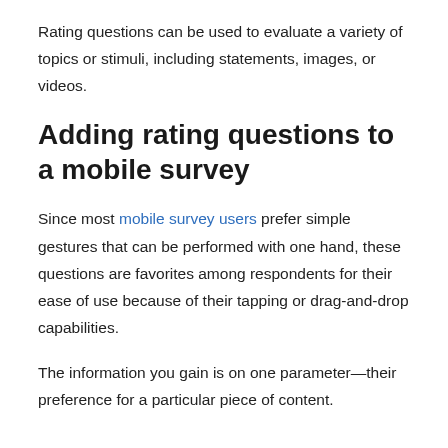Rating questions can be used to evaluate a variety of topics or stimuli, including statements, images, or videos.
Adding rating questions to a mobile survey
Since most mobile survey users prefer simple gestures that can be performed with one hand, these questions are favorites among respondents for their ease of use because of their tapping or drag-and-drop capabilities.
The information you gain is on one parameter—their preference for a particular piece of content.